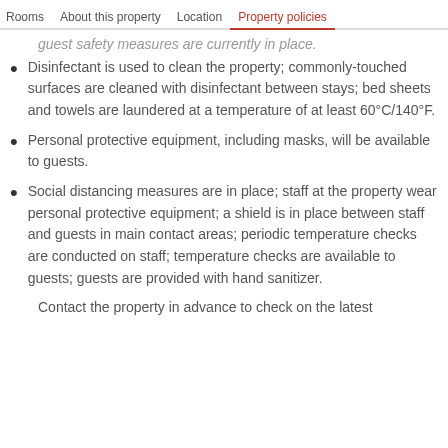Rooms   About this property   Location   Property policies
guest safety measures are currently in place.
Disinfectant is used to clean the property; commonly-touched surfaces are cleaned with disinfectant between stays; bed sheets and towels are laundered at a temperature of at least 60°C/140°F.
Personal protective equipment, including masks, will be available to guests.
Social distancing measures are in place; staff at the property wear personal protective equipment; a shield is in place between staff and guests in main contact areas; periodic temperature checks are conducted on staff; temperature checks are available to guests; guests are provided with hand sanitizer.
Contact the property in advance to check on the latest